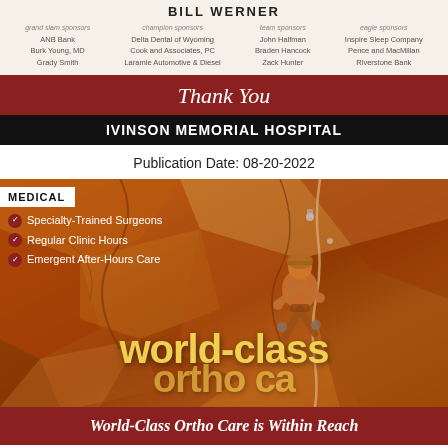BILL WERNER
grand slam sponsors: ANB Bank, Burk Young MD, Grady Smith | champion sponsors: Delta Dental of Wyoming, Cook and Associates PC, Laramie Automotive & Diesel | team sponsors: John Halfman, Braden Hancock, Zack Hunter | eagle sponsors: Inspire Sleep Company, Pence and MacMillan, Riverstone Bank
Thank You
IVINSON MEMORIAL HOSPITAL
Publication Date: 08-20-2022
[Figure (photo): Rock climber ascending a cliff face with an orange/amber color cast. Overlaid with white text listing medical services (Specialty-Trained Surgeons, Regular Clinic Hours, Emergent After-Hours Care) and a large yellow 'world-class' text overlay at the bottom.]
World-Class Ortho Care is Within Reach